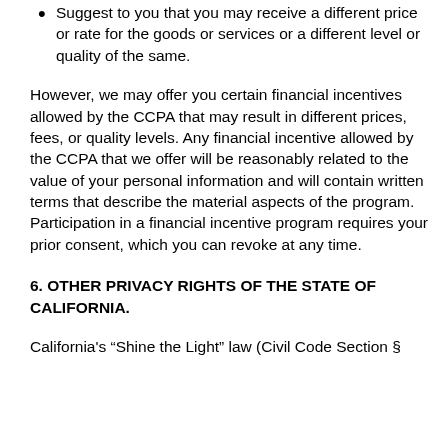Suggest to you that you may receive a different price or rate for the goods or services or a different level or quality of the same.
However, we may offer you certain financial incentives allowed by the CCPA that may result in different prices, fees, or quality levels. Any financial incentive allowed by the CCPA that we offer will be reasonably related to the value of your personal information and will contain written terms that describe the material aspects of the program. Participation in a financial incentive program requires your prior consent, which you can revoke at any time.
6. OTHER PRIVACY RIGHTS OF THE STATE OF CALIFORNIA.
California's “Shine the Light” law (Civil Code Section §